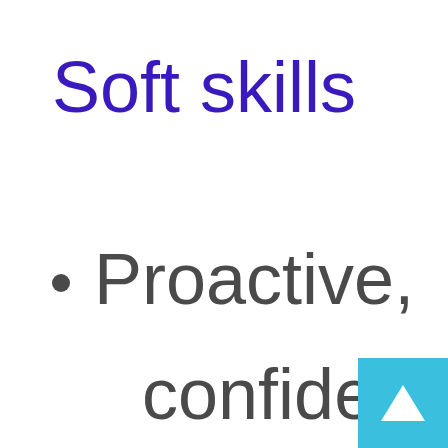Soft skills
Proactive,
confident